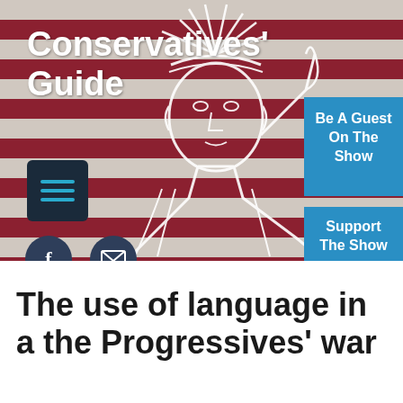[Figure (illustration): Website header banner with American flag stripe background (red and gray/white stripes), Statue of Liberty line-art illustration overlaid in white, logo text 'Conservatives' Guide' in white bold text on left, hamburger menu icon in dark navy box, Facebook and email social media circular buttons, two blue call-to-action buttons on the right: 'Be A Guest On The Show' and 'Support The Show']
The use of language in a the Progressives' war